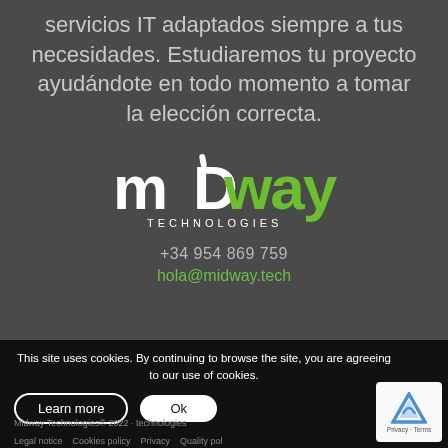servicios IT adaptados siempre a tus necesidades. Estudiaremos tu proyecto ayudándote en todo momento a tomar la elección correcta.
[Figure (logo): Midway Technologies logo — 'mD' in white stylized lettering, 'way' in green, with 'TECHNOLOGIES' in white spaced letters below]
+34 954 869 759
hola@midway.tech
This site uses cookies. By continuing to browse the site, you are agreeing to our use of cookies.
Learn more
Ok
Midway Technologies® 2022 · technologies
Legal notice   Cookies policy   Privacy   Quality pol